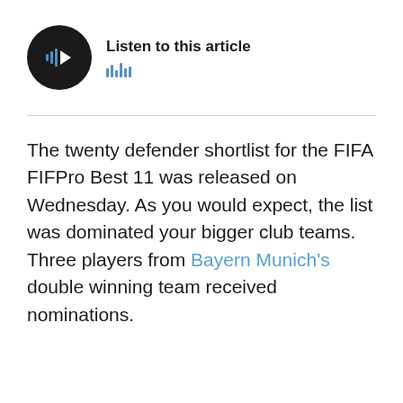[Figure (other): Audio player widget with circular black play button showing a play icon with sound wave bars, and text 'Listen to this article' with waveform equalizer bars below]
The twenty defender shortlist for the FIFA FIFPro Best 11 was released on Wednesday. As you would expect, the list was dominated your bigger club teams. Three players from Bayern Munich's double winning team received nominations.